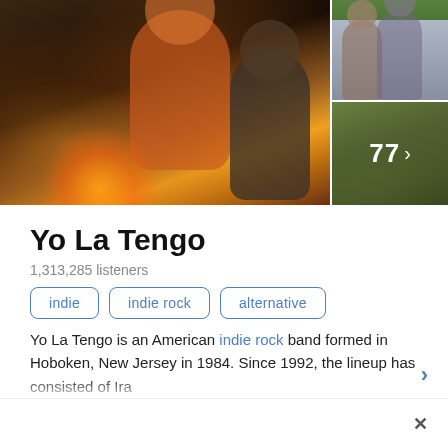[Figure (photo): Photo collage: main large photo of band members by a campfire at night (left), smaller photo of two people smiling outdoors (top right), and a green outdoor scene with '77 >' overlay (bottom right)]
Yo La Tengo
1,313,285 listeners
indie
indie rock
alternative
Yo La Tengo is an American indie rock band formed in Hoboken, New Jersey in 1984. Since 1992, the lineup has consisted of Ira